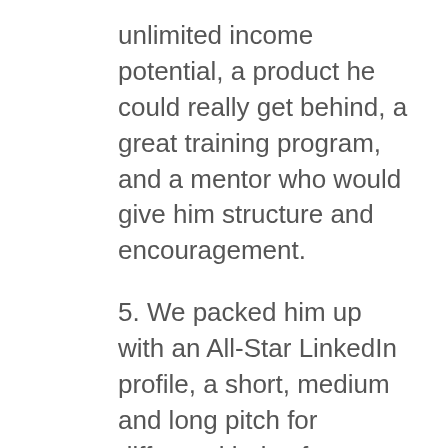unlimited income potential, a product he could really get behind, a great training program, and a mentor who would give him structure and encouragement.
5. We packed him up with an All-Star LinkedIn profile, a short, medium and long pitch for different kinds of networking activities, a list of awesome answers to interview questions, and finally a personal presentation style that